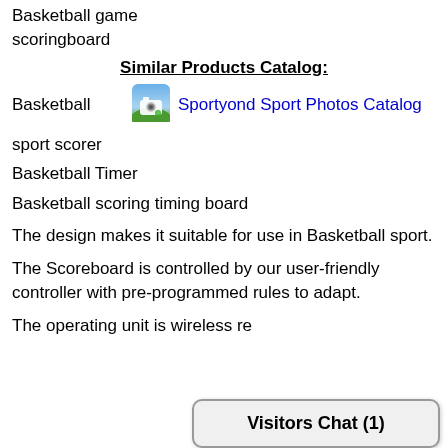Basketball game scoringboard
Similar Products Catalog:
Basketball
[Figure (screenshot): Camera/photo app icon - green and blue camera icon]
Sportyond Sport Photos Catalog
sport scorer
Basketball Timer
Basketball scoring timing board
The design makes it suitable for use in Basketball sport.
The Scoreboard is controlled by our user-friendly controller with pre-programmed rules to adapt.
The operating unit is wireless re
Visitors Chat (1)